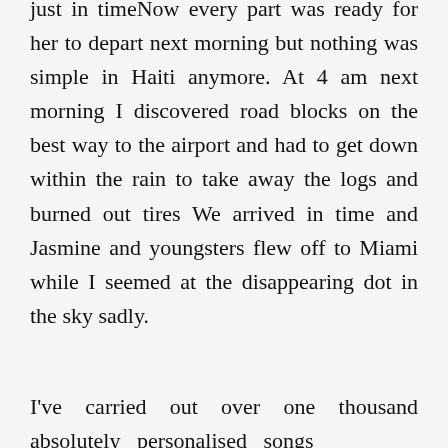just in timeNow every part was ready for her to depart next morning but nothing was simple in Haiti anymore. At 4 am next morning I discovered road blocks on the best way to the airport and had to get down within the rain to take away the logs and burned out tires We arrived in time and Jasmine and youngsters flew off to Miami while I seemed at the disappearing dot in the sky sadly.
I've carried out over one thousand absolutely personalised songs